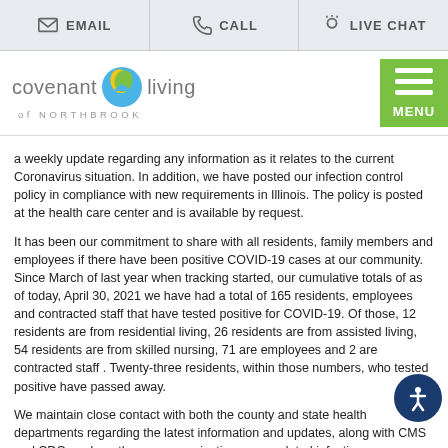EMAIL | CALL | LIVE CHAT
[Figure (logo): Covenant Living of Northbrook logo with green leaf and blue/yellow circle icon, and green MENU button]
a weekly update regarding any information as it relates to the current Coronavirus situation. In addition, we have posted our infection control policy in compliance with new requirements in Illinois. The policy is posted at the health care center and is available by request.
It has been our commitment to share with all residents, family members and employees if there have been positive COVID-19 cases at our community. Since March of last year when tracking started, our cumulative totals of as of today, April 30, 2021 we have had a total of 165 residents, employees and contracted staff that have tested positive for COVID-19. Of those, 12 residents are from residential living, 26 residents are from assisted living, 54 residents are from skilled nursing, 71 are employees and 2 are contracted staff . Twenty-three residents, within those numbers, who tested positive have passed away.
We maintain close contact with both the county and state health departments regarding the latest information and updates, along with CMS and CDC, and per these communications our updated infection